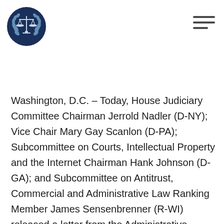[Figure (logo): House Judiciary Committee seal — scales of justice with laurel wreath on dark navy circular background]
Washington, D.C. – Today, House Judiciary Committee Chairman Jerrold Nadler (D-NY); Vice Chair Mary Gay Scanlon (D-PA); Subcommittee on Courts, Intellectual Property and the Internet Chairman Hank Johnson (D-GA); and Subcommittee on Antitrust, Commercial and Administrative Law Ranking Member James Sensenbrenner (R-WI) released a letter from the Administrative Office of the U.S. Courts (AO) in res… Read more »